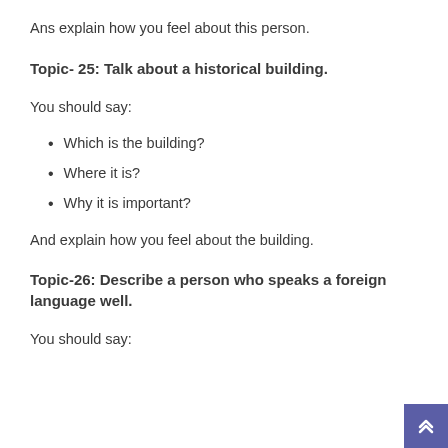Ans explain how you feel about this person.
Topic- 25: Talk about a historical building.
You should say:
Which is the building?
Where it is?
Why it is important?
And explain how you feel about the building.
Topic-26: Describe a person who speaks a foreign language well.
You should say: